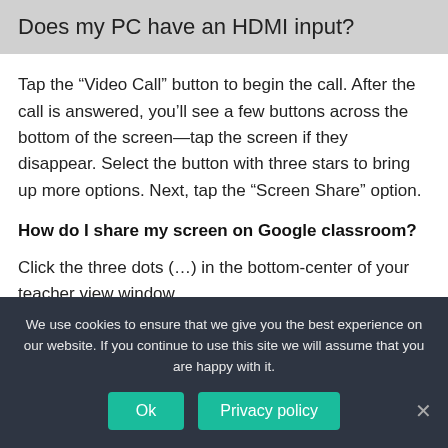Does my PC have an HDMI input?
Tap the “Video Call” button to begin the call. After the call is answered, you’ll see a few buttons across the bottom of the screen—tap the screen if they disappear. Select the button with three stars to bring up more options. Next, tap the “Screen Share” option.
How do I share my screen on Google classroom?
Click the three dots (…) in the bottom-center of your teacher view window.
We use cookies to ensure that we give you the best experience on our website. If you continue to use this site we will assume that you are happy with it.